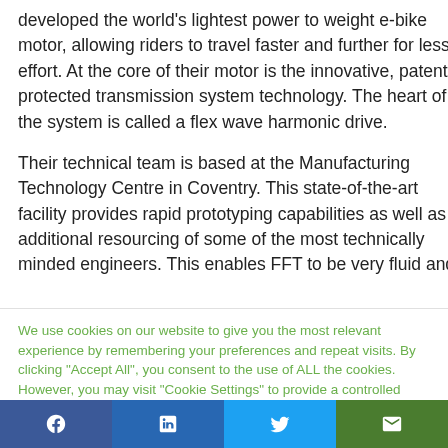developed the world's lightest power to weight e-bike motor, allowing riders to travel faster and further for less effort. At the core of their motor is the innovative, patent protected transmission system technology. The heart of the system is called a flex wave harmonic drive.

Their technical team is based at the Manufacturing Technology Centre in Coventry. This state-of-the-art facility provides rapid prototyping capabilities as well as additional resourcing of some of the most technically minded engineers. This enables FFT to be very fluid and
We use cookies on our website to give you the most relevant experience by remembering your preferences and repeat visits. By clicking "Accept All", you consent to the use of ALL the cookies. However, you may visit "Cookie Settings" to provide a controlled consent.
Cookie Settings | Accept All | Facebook | LinkedIn | Twitter | Email